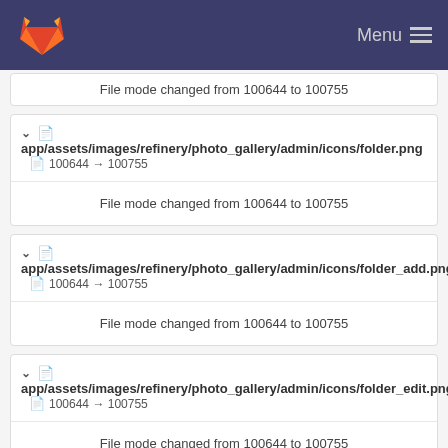[Figure (screenshot): GitLab navigation bar with orange fox logo on left and Menu with hamburger icon on right, dark navy/purple background]
File mode changed from 100644 to 100755
app/assets/images/refinery/photo_gallery/admin/icons/folder.png  100644 → 100755
File mode changed from 100644 to 100755
app/assets/images/refinery/photo_gallery/admin/icons/folder_add.png  100644 → 100755
File mode changed from 100644 to 100755
app/assets/images/refinery/photo_gallery/admin/icons/folder_edit.png  100644 → 100755
File mode changed from 100644 to 100755